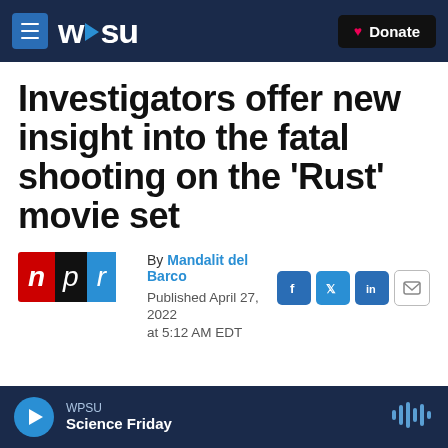WPSU | Donate
Investigators offer new insight into the fatal shooting on the 'Rust' movie set
By Mandalit del Barco
Published April 27, 2022 at 5:12 AM EDT
WPSU Science Friday